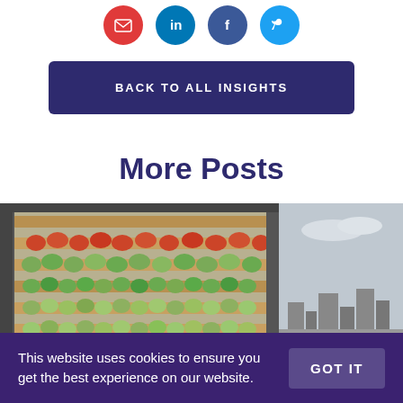[Figure (other): Row of four social sharing icon circles: red email, blue LinkedIn, dark blue Facebook, light blue Twitter]
BACK TO ALL INSIGHTS
More Posts
[Figure (photo): Open back of a refrigerated truck filled with wooden crates stacked with green apples and other produce, industrial building in background]
This website uses cookies to ensure you get the best experience on our website.
GOT IT